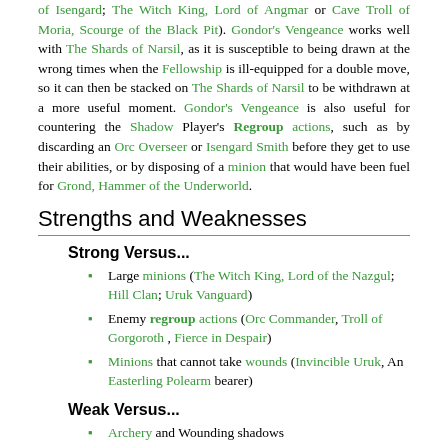of Isengard; The Witch King, Lord of Angmar or Cave Troll of Moria, Scourge of the Black Pit). Gondor's Vengeance works well with The Shards of Narsil, as it is susceptible to being drawn at the wrong times when the Fellowship is ill-equipped for a double move, so it can then be stacked on The Shards of Narsil to be withdrawn at a more useful moment. Gondor's Vengeance is also useful for countering the Shadow Player's Regroup actions, such as by discarding an Orc Overseer or Isengard Smith before they get to use their abilities, or by disposing of a minion that would have been fuel for Grond, Hammer of the Underworld.
Strengths and Weaknesses
Strong Versus...
Large minions (The Witch King, Lord of the Nazgul; Hill Clan; Uruk Vanguard)
Enemy regroup actions (Orc Commander, Troll of Gorgoroth , Fierce in Despair)
Minions that cannot take wounds (Invincible Uruk, An Easterling Polearm bearer)
Weak Versus...
Archery and Wounding shadows
Small minions